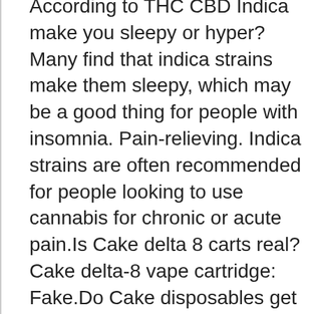According to THC CBD Indica make you sleepy or hyper?Many find that indica strains make them sleepy, which may be a good thing for people with insomnia. Pain-relieving. Indica strains are often recommended for people looking to use cannabis for chronic or acute pain.Is Cake delta 8 carts real?Cake delta-8 vape cartridge: Fake.Do Cake disposables get you high?The answer is yes. Being a psychoactive compound, taking pure delta 8 will cause you to experience mind-altering effects.Are cake Vapes reusable?This is a 5-pack display of Cake Delta 8 1010 Kits, which includes a Granddaddy Purple 1.5g vape cartridge and reusable/rechargeable battery. ... Cake's Delta 8 products contain less than 0.3% Delta-9 THC in accordance with the 2018 Farm Bill.What strain is birthday cake Stiiizy?Description: An indica-dominant…